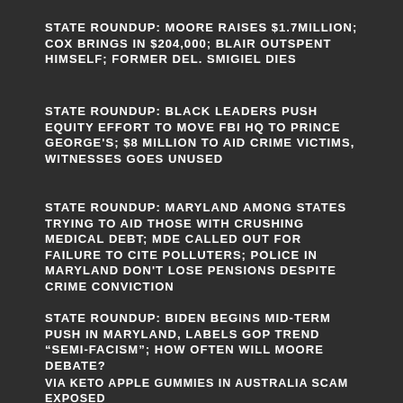STATE ROUNDUP: MOORE RAISES $1.7MILLION; COX BRINGS IN $204,000; BLAIR OUTSPENT HIMSELF; FORMER DEL. SMIGIEL DIES
STATE ROUNDUP: BLACK LEADERS PUSH EQUITY EFFORT TO MOVE FBI HQ TO PRINCE GEORGE'S; $8 MILLION TO AID CRIME VICTIMS, WITNESSES GOES UNUSED
STATE ROUNDUP: MARYLAND AMONG STATES TRYING TO AID THOSE WITH CRUSHING MEDICAL DEBT; MDE CALLED OUT FOR FAILURE TO CITE POLLUTERS; POLICE IN MARYLAND DON'T LOSE PENSIONS DESPITE CRIME CONVICTION
STATE ROUNDUP: BIDEN BEGINS MID-TERM PUSH IN MARYLAND, LABELS GOP TREND “SEMI-FACISM”; HOW OFTEN WILL MOORE DEBATE?
VIA KETO APPLE GUMMIES IN AUSTRALIA SCAM EXPOSED
BIDEN RIPS INTO MAGA REPUBLICANS, RALLIES